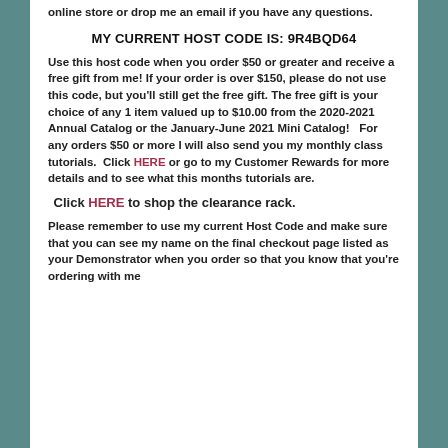online store or drop me an email if you have any questions.
MY CURRENT HOST CODE IS: 9R4BQD64
Use this host code when you order $50 or greater and receive a free gift from me! If your order is over $150, please do not use this code, but you'll still get the free gift. The free gift is your choice of any 1 item valued up to $10.00 from the 2020-2021 Annual Catalog or the January-June 2021 Mini Catalog!   For any orders $50 or more I will also send you my monthly class tutorials.  Click HERE or go to my Customer Rewards for more details and to see what this months tutorials are.
Click HERE to shop the clearance rack.
Please remember to use my current Host Code and make sure that you can see my name on the final checkout page listed as your Demonstrator when you order so that you know that you're ordering with me